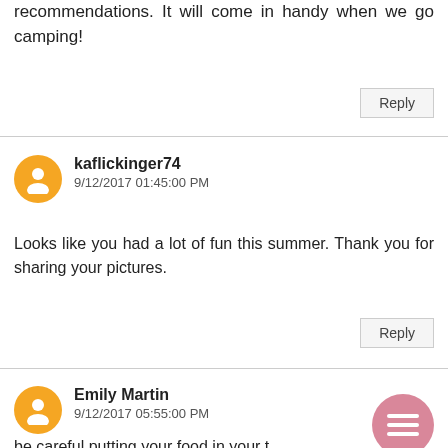recommendations. It will come in handy when we go camping!
Reply
kaflickinger74
9/12/2017 01:45:00 PM
Looks like you had a lot of fun this summer. Thank you for sharing your pictures.
Reply
Emily Martin
9/12/2017 05:55:00 PM
be careful putting your food in your t... you're in bear country, its best to hang it from a tree or use a bear canister. bears will